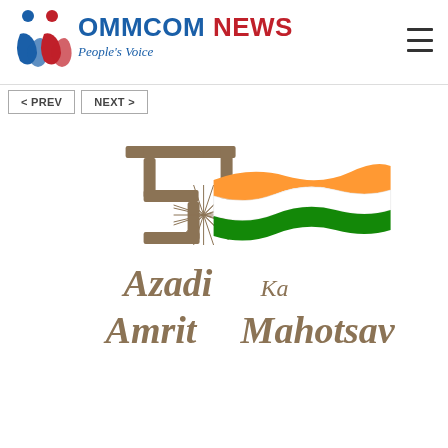[Figure (logo): Ommcom News logo with People's Voice tagline — blue and red figures icon on left, bold red text OMMCOM NEWS with blue italic People's Voice below]
[Figure (other): Navigation buttons: < PREV and NEXT >]
[Figure (logo): Azadi Ka Amrit Mahotsav logo — stylized 75 in dark gold with Ashoka Chakra and Indian tricolor flag waves (saffron, white, green), text 'Azadi Ka Amrit Mahotsav' in gold/olive serif font]